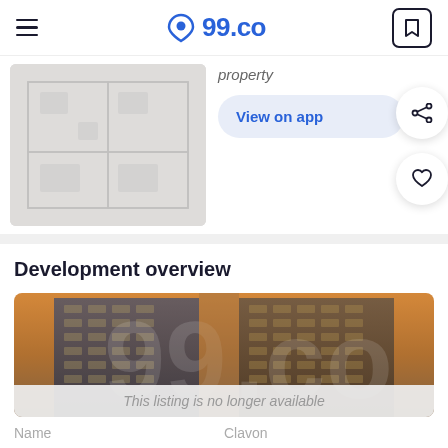99.co
[Figure (schematic): Blurred floor plan / property image on left side]
property
View on app
Development overview
[Figure (photo): High-rise condominium towers with city skyline and warm sky, with 99.co watermark overlay]
This listing is no longer available
| Name | Clavon |
| --- | --- |